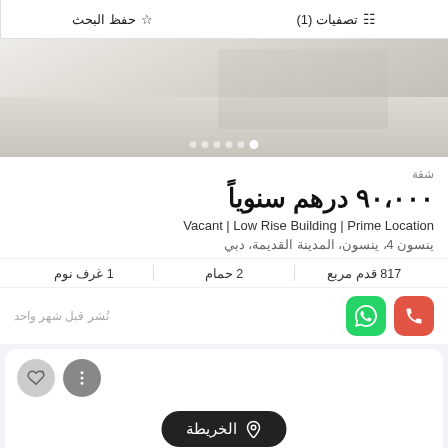تصفيات (1)  |  حفظ البحث
[Figure (photo): Interior photo of an apartment with white/light-colored flooring and walls, partially visible. Carousel dots shown at bottom.]
شقة
٩٠،٠٠٠ درهم سنوياً
Vacant | Low Rise Building | Prime Location
ينسون 4، ينسون، المدينة القديمة، دبي
1 غرف نوم  |  2 حمام  |  817 قدم مربع
نُشر قبل شهر واحد
[Figure (screenshot): Partial listing card at bottom with icons (more options and heart/save) and a map button labeled الخريطة]